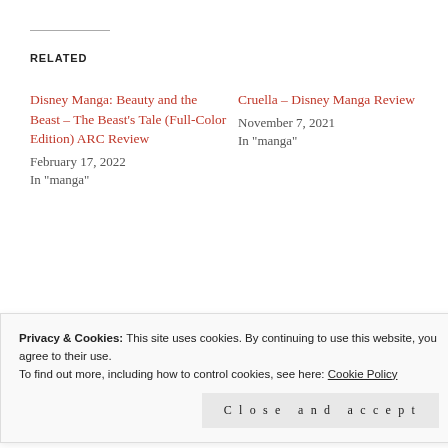RELATED
Disney Manga: Beauty and the Beast – The Beast's Tale (Full-Color Edition) ARC Review
February 17, 2022
In "manga"
Cruella – Disney Manga Review
November 7, 2021
In "manga"
Manga Recommendations
April 10, 2021
In "manga"
Privacy & Cookies: This site uses cookies. By continuing to use this website, you agree to their use.
To find out more, including how to control cookies, see here: Cookie Policy
Close and accept